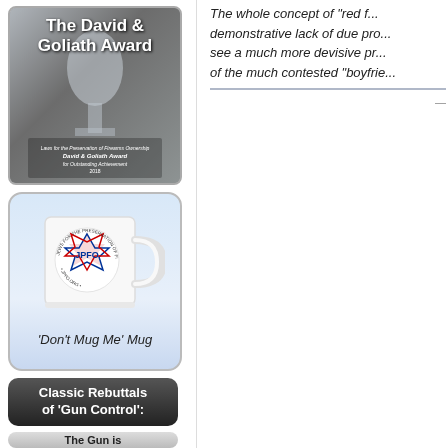[Figure (photo): The David & Goliath Award trophy on a dark background with text overlay]
[Figure (photo): White coffee mug with JPFO logo (Star of David with American flag pattern, text: JEWS FOR THE PRESERVATION OF FIREARMS OWNERSHIP, JPFO, JPFO.ORG)]
'Don't Mug Me' Mug
Classic Rebuttals of 'Gun Control':
The Gun is
The whole concept of "red f... demonstrative lack of due pro... see a much more devisive pr... of the much contested "boyfrie...